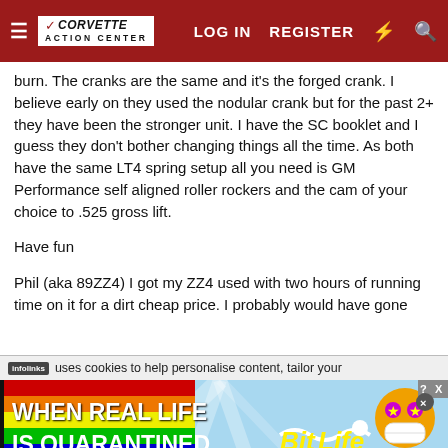CORVETTE ACTION CENTER — LOG IN  REGISTER
burn. The cranks are the same and it's the forged crank. I believe early on they used the nodular crank but for the past 2+ they have been the stronger unit. I have the SC booklet and I guess they don't bother changing things all the time. As both have the same LT4 spring setup all you need is GM Performance self aligned roller rockers and the cam of your choice to .525 gross lift.
Have fun
Phil (aka 89ZZ4) I got my ZZ4 used with two hours of running time on it for a dirt cheap price. I probably would have gone
[Figure (screenshot): BitLife advertisement banner with rainbow background, text 'WHEN REAL LIFE IS QUARANTINED' and BitLife logo with emoji characters]
infolinks uses cookies to help personalise content, tailor your